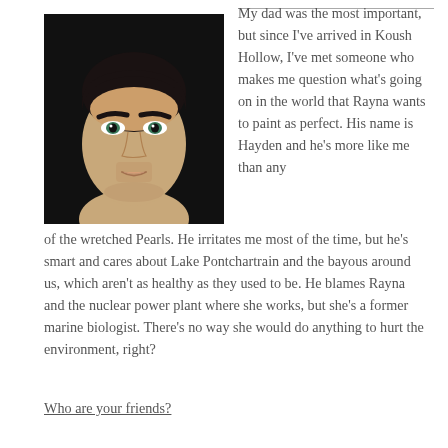[Figure (photo): Close-up portrait photo of a young man with dark hair and prominent eyebrows, facing the camera against a dark background.]
My dad was the most important, but since I've arrived in Koush Hollow, I've met someone who makes me question what's going on in the world that Rayna wants to paint as perfect. His name is Hayden and he's more like me than any of the wretched Pearls. He irritates me most of the time, but he's smart and cares about Lake Pontchartrain and the bayous around us, which aren't as healthy as they used to be. He blames Rayna and the nuclear power plant where she works, but she's a former marine biologist. There's no way she would do anything to hurt the environment, right?
Who are your friends?